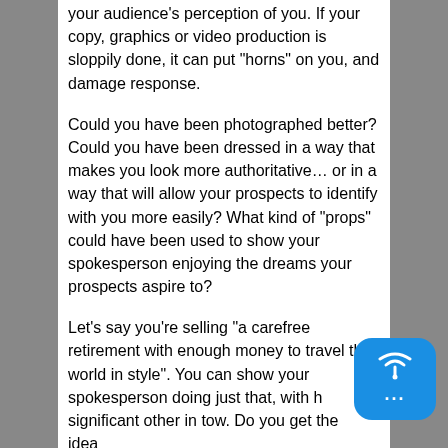your audience’s perception of you. If your copy, graphics or video production is sloppily done, it can put “horns” on you, and damage response.
Could you have been photographed better? Could you have been dressed in a way that makes you look more authoritative… or in a way that will allow your prospects to identify with you more easily? What kind of “props” could have been used to show your spokesperson enjoying the dreams your prospects aspire to?
Let’s say you’re selling “a carefree retirement with enough money to travel the world in style”. You can show your spokesperson doing just that, with his or her significant other in tow. Do you get the idea...
[Figure (illustration): Blue rounded square chat/podcast icon with wireless signal symbol and three dots (ellipsis) below it, positioned bottom-right over the text]